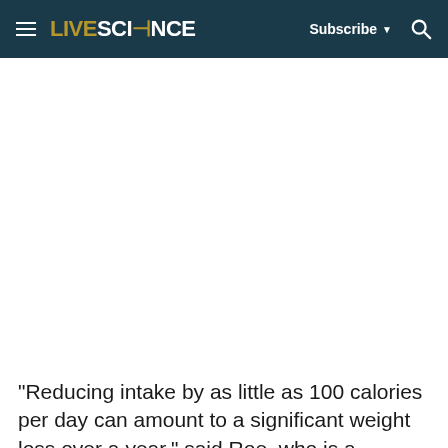LIVESCIENCE — Subscribe ▼ 🔍
[Figure (other): Advertisement/blank white space area below navigation header]
"Reducing intake by as little as 100 calories per day can amount to a significant weight loss over a year," said Roe, who is a coauthor of the paper on the